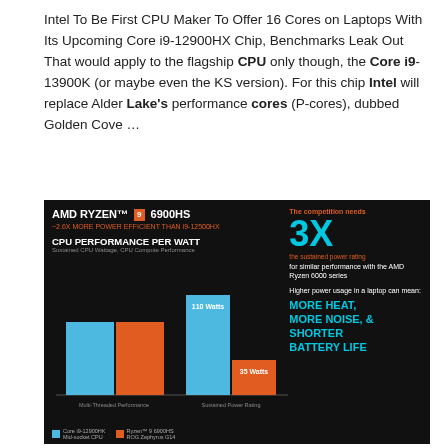Intel To Be First CPU Maker To Offer 16 Cores on Laptops With Its Upcoming Core i9-12900HX Chip, Benchmarks Leak Out That would apply to the flagship CPU only though, the Core i9-13900K (or maybe even the KS version). For this chip Intel will replace Alder Lake's performance cores (P-cores), dubbed Golden Cove …
[Figure (infographic): AMD Ryzen 9 6900HS infographic showing CPU Performance Per Watt comparison. Left side shows bar chart comparing Core i9-12900HK and Ryzen 9 6900HS for Multi-Threaded Performance and Sustained Power Rating (110 Watts vs 35 Watts). Right side states 'The competition needs 3X the sustained power rating for similar performance with the AMD Ryzen 6000 series. Higher power usage in a laptop can mean: MORE HEAT, MORE NOISE, & SHORTER BATTERY LIFE'.]